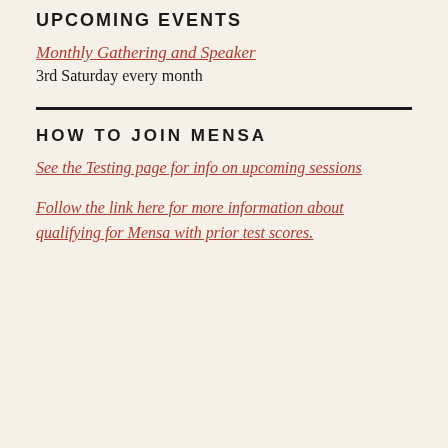UPCOMING EVENTS
Monthly Gathering and Speaker
3rd Saturday every month
HOW TO JOIN MENSA
See the Testing page for info on upcoming sessions
Follow the link here for more information about qualifying for Mensa with prior test scores.